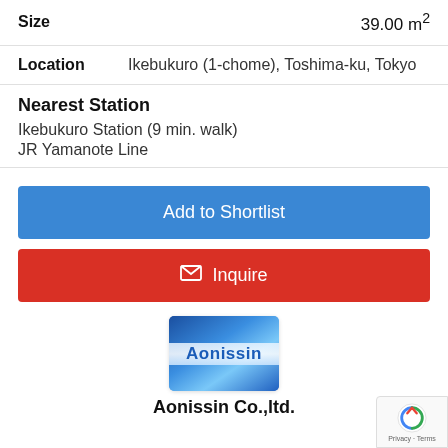| Size | 39.00 m² |
| --- | --- |
| Location | Ikebukuro (1-chome), Toshima-ku, Tokyo |
| --- | --- |
Nearest Station
Ikebukuro Station (9 min. walk)
JR Yamanote Line
Add to Shortlist
✉ Inquire
[Figure (logo): Aonissin company logo — blue gradient background with white bold text 'Aonissin']
Aonissin Co.,ltd.